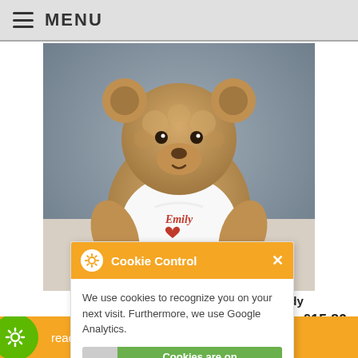≡ MENU
[Figure (photo): A plush teddy bear with curly golden-brown fur wearing a white t-shirt embroidered with 'Emily ♥ Jack' in red text, sitting against a grey and white background.]
alised Teddy
£15.80
Cookie Control ×
We use cookies to recognize you on your next visit. Furthermore, we use Google Analytics.
Cookies are on
about this tool
read More